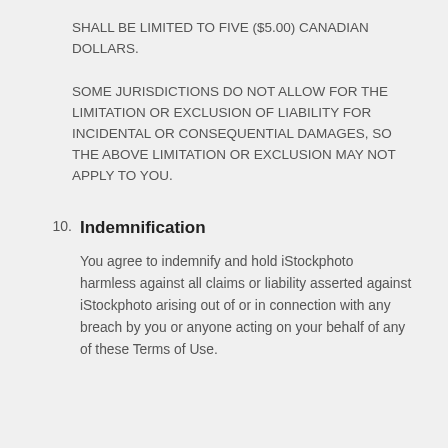SHALL BE LIMITED TO FIVE ($5.00) CANADIAN DOLLARS.
SOME JURISDICTIONS DO NOT ALLOW FOR THE LIMITATION OR EXCLUSION OF LIABILITY FOR INCIDENTAL OR CONSEQUENTIAL DAMAGES, SO THE ABOVE LIMITATION OR EXCLUSION MAY NOT APPLY TO YOU.
10. Indemnification
You agree to indemnify and hold iStockphoto harmless against all claims or liability asserted against iStockphoto arising out of or in connection with any breach by you or anyone acting on your behalf of any of these Terms of Use.